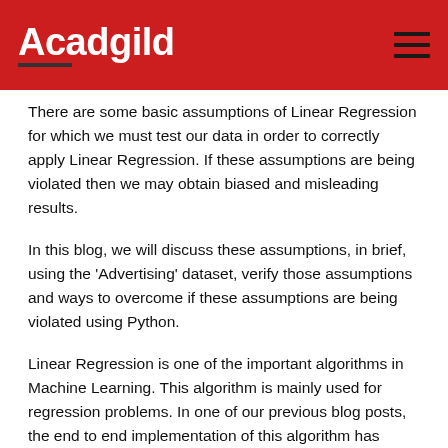Acadgild
There are some basic assumptions of Linear Regression for which we must test our data in order to correctly apply Linear Regression. If these assumptions are being violated then we may obtain biased and misleading results.
In this blog, we will discuss these assumptions, in brief, using the ‘Advertising’ dataset, verify those assumptions and ways to overcome if these assumptions are being violated using Python.
Linear Regression is one of the important algorithms in Machine Learning. This algorithm is mainly used for regression problems. In one of our previous blog posts, the end to end implementation of this algorithm has already been presented using the ‘Boston dataset’. We assume our readers will have little basic knowledge of Linear Regression and its implementation. If not you can go through our previous blog to understand the implementation of Linear Regression in a detailed way.